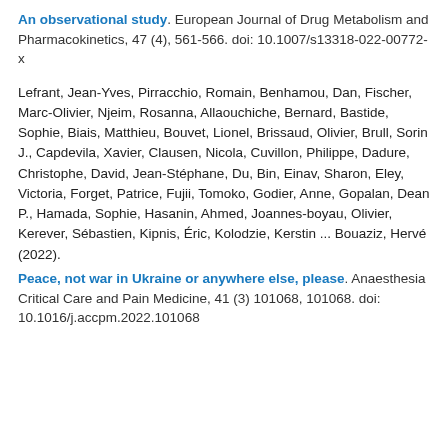An observational study. European Journal of Drug Metabolism and Pharmacokinetics, 47 (4), 561-566. doi: 10.1007/s13318-022-00772-x
Lefrant, Jean-Yves, Pirracchio, Romain, Benhamou, Dan, Fischer, Marc-Olivier, Njeim, Rosanna, Allaouchiche, Bernard, Bastide, Sophie, Biais, Matthieu, Bouvet, Lionel, Brissaud, Olivier, Brull, Sorin J., Capdevila, Xavier, Clausen, Nicola, Cuvillon, Philippe, Dadure, Christophe, David, Jean-Stéphane, Du, Bin, Einav, Sharon, Eley, Victoria, Forget, Patrice, Fujii, Tomoko, Godier, Anne, Gopalan, Dean P., Hamada, Sophie, Hasanin, Ahmed, Joannes-boyau, Olivier, Kerever, Sébastien, Kipnis, Éric, Kolodzie, Kerstin ... Bouaziz, Hervé (2022).
Peace, not war in Ukraine or anywhere else, please. Anaesthesia Critical Care and Pain Medicine, 41 (3) 101068, 101068. doi: 10.1016/j.accpm.2022.101068